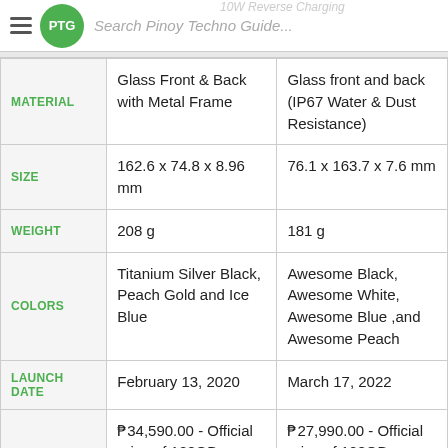Search Pinoy Techno Guide...
|  | Column 1 | Column 2 |
| --- | --- | --- |
| MATERIAL | Glass Front & Back with Metal Frame | Glass front and back (IP67 Water & Dust Resistance) |
| SIZE | 162.6 x 74.8 x 8.96 mm | 76.1 x 163.7 x 7.6 mm |
| WEIGHT | 208 g | 181 g |
| COLORS | Titanium Silver Black, Peach Gold and Ice Blue | Awesome Black, Awesome White, Awesome Blue ,and Awesome Peach |
| LAUNCH DATE | February 13, 2020 | March 17, 2022 |
|  | ₱34,590.00 - Official price of 128GB version in the Philippines | ₱27,990.00 - Official price of 128GB version in the Philippines |